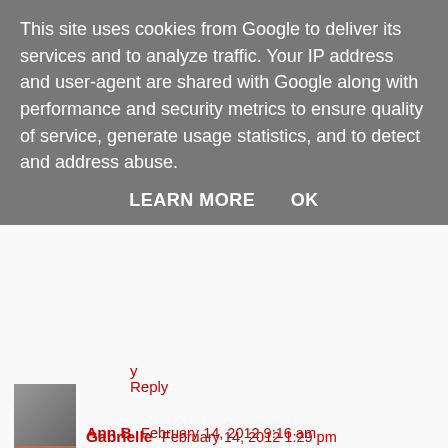This site uses cookies from Google to deliver its services and to analyze traffic. Your IP address and user-agent are shared with Google along with performance and security metrics to ensure quality of service, generate usage statistics, and to detect and address abuse.
LEARN MORE    OK
Reply
Ann B  February 14, 2012 9:16 am
Wish I lived nearer, or you did shows nearer Manchester thank goodness for cyber-shopping and the hope that you tell us what 'bumping' is on your blog. Seen it mentioned on a couple of blogs and as I have the Frescos and Portfolios I'm all ready to go.
Reply
Gabrielle  February 14, 2012 1:29 pm